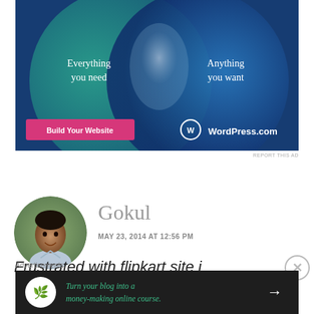[Figure (illustration): WordPress.com advertisement banner with teal-to-blue gradient background, two overlapping circles (Venn diagram style), text 'Everything you need' and 'Anything you want', a pink 'Build Your Website' button, and the WordPress.com logo]
REPORT THIS AD
[Figure (photo): Circular profile photo of a man named Gokul, Indian appearance, wearing a light blue shirt, smiling, outdoor background]
Gokul
MAY 23, 2014 AT 12:56 PM
Frustrated with flipkart site i
Advertisements
[Figure (illustration): Dark advertisement banner for turning a blog into a money-making online course, with a tree/person icon on the left and an arrow on the right]